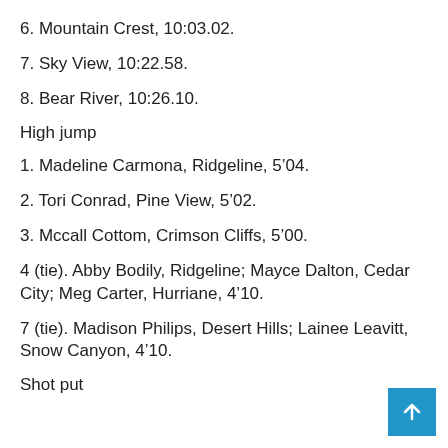6. Mountain Crest, 10:03.02.
7. Sky View, 10:22.58.
8. Bear River, 10:26.10.
High jump
1. Madeline Carmona, Ridgeline, 5’04.
2. Tori Conrad, Pine View, 5’02.
3. Mccall Cottom, Crimson Cliffs, 5’00.
4 (tie). Abby Bodily, Ridgeline; Mayce Dalton, Cedar City; Meg Carter, Hurriane, 4’10.
7 (tie). Madison Philips, Desert Hills; Lainee Leavitt, Snow Canyon, 4’10.
Shot put